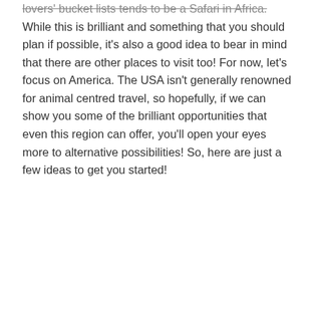lovers' bucket lists tends to be a Safari in Africa. While this is brilliant and something that you should plan if possible, it's also a good idea to bear in mind that there are other places to visit too! For now, let's focus on America. The USA isn't generally renowned for animal centred travel, so hopefully, if we can show you some of the brilliant opportunities that even this region can offer, you'll open your eyes more to alternative possibilities! So, here are just a few ideas to get you started!